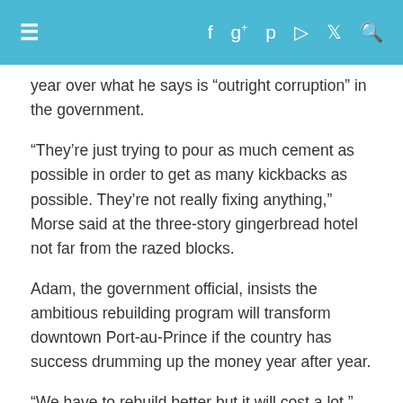≡  f  g+  p  ⊳  🐦  🔍
year over what he says is “outright corruption” in the government.
“They’re just trying to pour as much cement as possible in order to get as many kickbacks as possible. They’re not really fixing anything,” Morse said at the three-story gingerbread hotel not far from the razed blocks.
Adam, the government official, insists the ambitious rebuilding program will transform downtown Port-au-Prince if the country has success drumming up the money year after year.
“We have to rebuild better but it will cost a lot,” he said.
For some Port-au-Prince residents, the message of renewal is powerful.
“I would love for my city to have a different image. I want a Port-au-Prince like New York, Miami, Canada,” off-duty policeman Evens Simon said as he gazed up at construction workers on scaffolding.